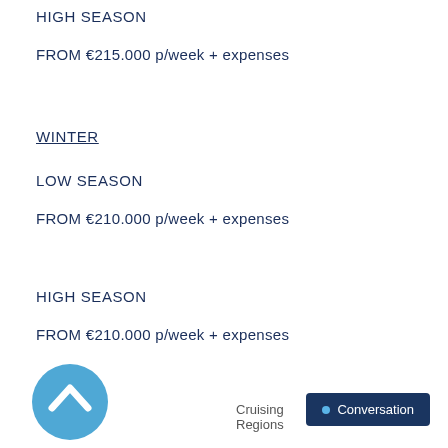HIGH SEASON
FROM €215.000 p/week + expenses
WINTER
LOW SEASON
FROM €210.000 p/week + expenses
HIGH SEASON
FROM €210.000 p/week + expenses
Cruising Regions  Conversation